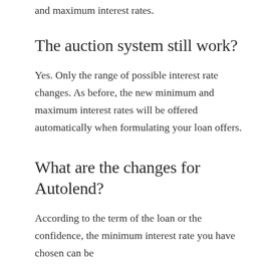and maximum interest rates.
The auction system still work?
Yes. Only the range of possible interest rate changes. As before, the new minimum and maximum interest rates will be offered automatically when formulating your loan offers.
What are the changes for Autolend?
According to the term of the loan or the confidence, the minimum interest rate you have chosen can be